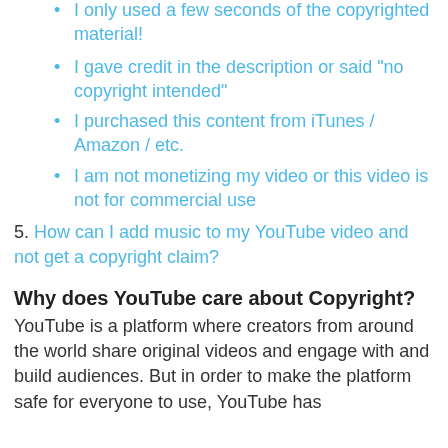I only used a few seconds of the copyrighted material!
I gave credit in the description or said "no copyright intended"
I purchased this content from iTunes / Amazon / etc.
I am not monetizing my video or this video is not for commercial use
5. How can I add music to my YouTube video and not get a copyright claim?
Why does YouTube care about Copyright?
YouTube is a platform where creators from around the world share original videos and engage with and build audiences. But in order to make the platform safe for everyone to use, YouTube has